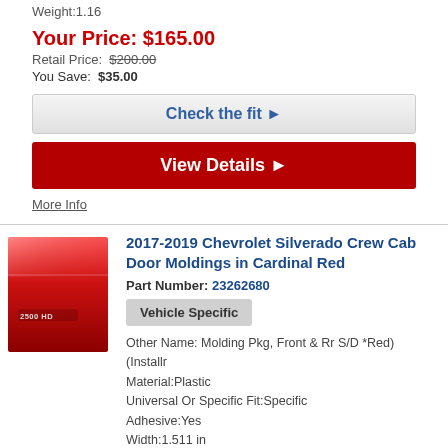Weight:1.16
Your Price: $165.00
Retail Price: $200.00
You Save: $35.00
Check the fit ▶
View Details ▶
More Info
[Figure (photo): Red Chevrolet Silverado 2500 HD door panel with chrome 2500 HD badge]
2017-2019 Chevrolet Silverado Crew Cab Door Moldings in Cardinal Red
Part Number: 23262680
Vehicle Specific
Other Name: Molding Pkg, Front & Rr S/D *Red) (Installr
Material:Plastic
Universal Or Specific Fit:Specific
Adhesive:Yes
Width:1.511 in